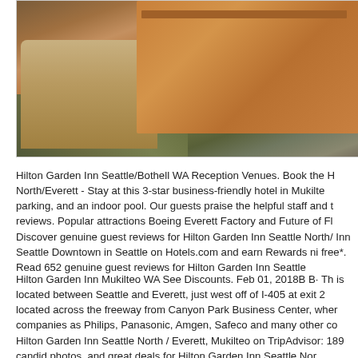[Figure (photo): Interior photo of a hotel meeting/conference room showing wooden tables and chairs with carpeted floor]
Hilton Garden Inn Seattle/Bothell WA Reception Venues. Book the H North/Everett - Stay at this 3-star business-friendly hotel in Mukilte parking, and an indoor pool. Our guests praise the helpful staff and t reviews. Popular attractions Boeing Everett Factory and Future of Fl Discover genuine guest reviews for Hilton Garden Inn Seattle North/ Inn Seattle Downtown in Seattle on Hotels.com and earn Rewards ni free*. Read 652 genuine guest reviews for Hilton Garden Inn Seattle
Hilton Garden Inn Mukilteo WA See Discounts. Feb 01, 2018B B· T is located between Seattle and Everett, just west off of I-405 at exit 2 located across the freeway from Canyon Park Business Center, wher companies as Philips, Panasonic, Amgen, Safeco and many other co Hilton Garden Inn Seattle North / Everett, Mukilteo on TripAdvisor: 189 candid photos, and great deals for Hilton Garden Inn Seattle Nor